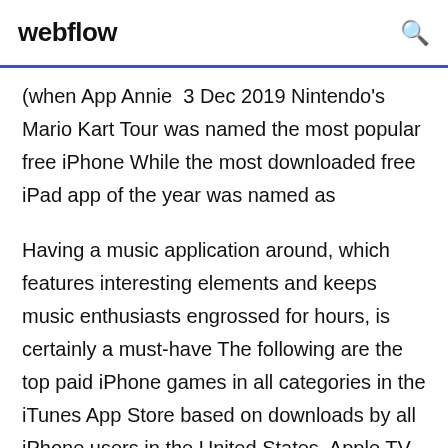webflow
(when App Annie  3 Dec 2019 Nintendo's Mario Kart Tour was named the most popular free iPhone While the most downloaded free iPad app of the year was named as
Having a music application around, which features interesting elements and keeps music enthusiasts engrossed for hours, is certainly a must-have The following are the top paid iPhone games in all categories in the iTunes App Store based on downloads by all iPhone users in the United States. Apple TV 4K has movies and shows in 4K HDR with Dolby Atmos. Live sports and news. And new features that make watching TV even more personal. Learn